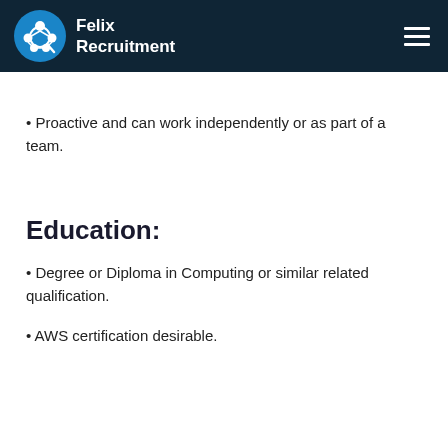Felix Recruitment
Proactive and can work independently or as part of a team.
Education:
Degree or Diploma in Computing or similar related qualification.
AWS certification desirable.